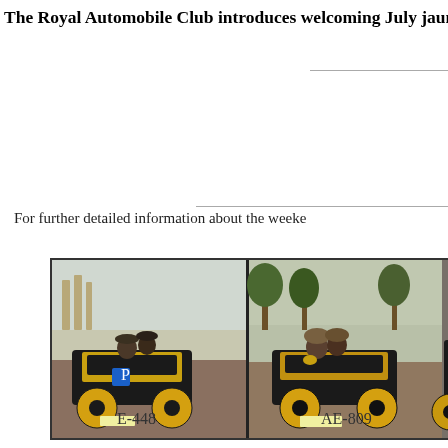The Royal Automobile Club introduces welcoming July jaunt for
For further detailed information about the weeke
[Figure (photo): Three vintage/veteran automobiles with passengers driving along a road, likely at a veteran car rally. The cars are black and yellow with large spoked wheels, reminiscent of early 1900s automobiles. People dressed in period-appropriate clothing are seated in the open-top cars.]